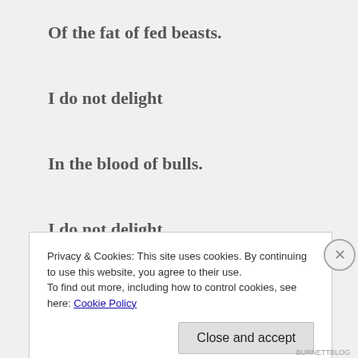Of the fat of fed beasts.
I do not delight
In the blood of bulls.
I do not delight
In the blood of lambs.
Privacy & Cookies: This site uses cookies. By continuing to use this website, you agree to their use.
To find out more, including how to control cookies, see here: Cookie Policy
BURNETTBLOG